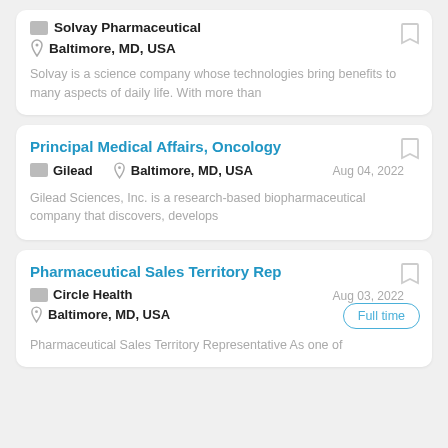Solvay Pharmaceutical
Baltimore, MD, USA
Solvay is a science company whose technologies bring benefits to many aspects of daily life. With more than
Principal Medical Affairs, Oncology
Gilead
Baltimore, MD, USA
Aug 04, 2022
Gilead Sciences, Inc. is a research-based biopharmaceutical company that discovers, develops
Pharmaceutical Sales Territory Rep
Circle Health
Baltimore, MD, USA
Aug 03, 2022
Full time
Pharmaceutical Sales Territory Representative As one of